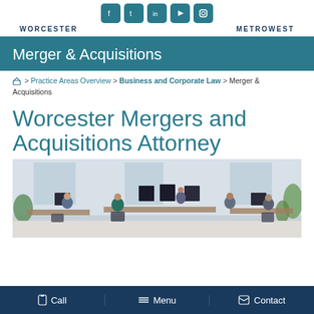WORCESTER   METROWEST
Merger & Acquisitions
Home > Practice Areas Overview > Business and Corporate Law > Merger & Acquisitions
Worcester Mergers and Acquisitions Attorney
[Figure (photo): Office scene with several professionals working at desks with computer monitors, plants in background]
Call   Menu   Contact